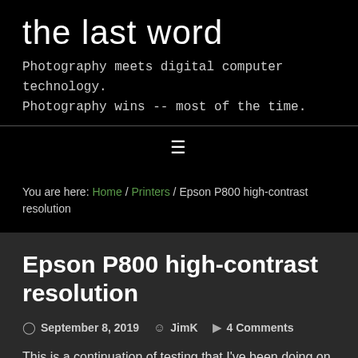the last word
Photography meets digital computer technology.
Photography wins -- most of the time.
≡
You are here: Home / Printers / Epson P800 high-contrast resolution
Epson P800 high-contrast resolution
September 8, 2019   JimK   4 Comments
This is a continuation of testing that I've been doing on